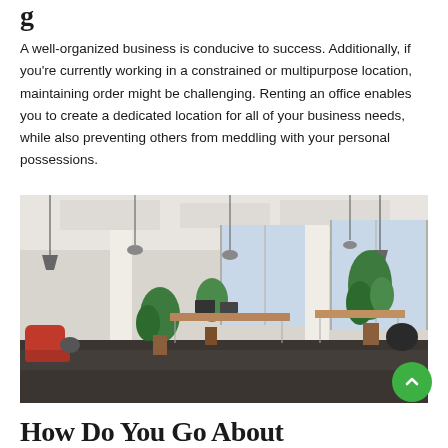g…
A well-organized business is conducive to success. Additionally, if you're currently working in a constrained or multipurpose location, maintaining order might be challenging. Renting an office enables you to create a dedicated location for all of your business needs, while also preventing others from meddling with your personal possessions.
[Figure (photo): Interior of a modern open-plan office space with white pillars, large windows, pendant lights, plants, wooden desks, and a red seating area on a dark floor.]
How Do You Go About…